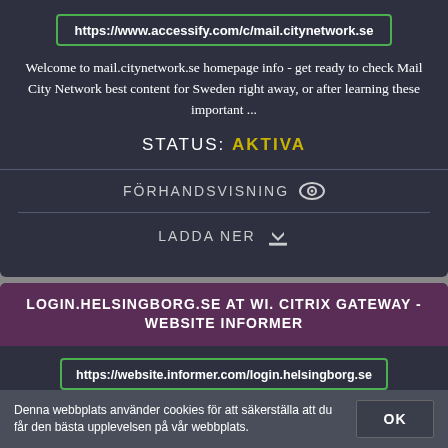https://www.accessify.com/c/mail.citynetwork.se
Welcome to mail.citynetwork.se homepage info - get ready to check Mail City Network best content for Sweden right away, or after learning these important ...
STATUS: AKTIVA
FÖRHANDSVISNING
LADDA NER
LOGIN.HELSINGBORG.SE AT WI. CITRIX GATEWAY - WEBSITE INFORMER
https://website.informer.com/login.helsingborg.se
18 Mar 2020 ... login.helsingborg.se information at Website Informer. Citrix Gateway.
Denna webbplats använder cookies för att säkerställa att du får den bästa upplevelsen på vår webbplats.